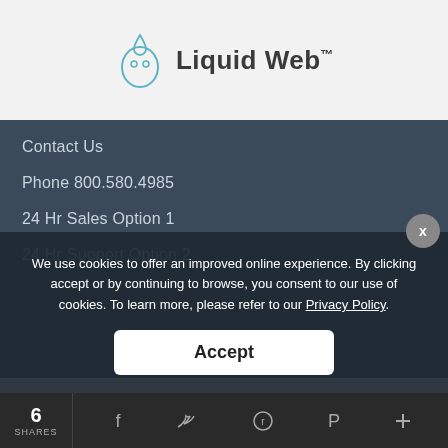[Figure (logo): Liquid Web logo with water drop fish icon and Liquid Web™ text]
Contact Us
Phone 800.580.4985
24 Hr Sales Option 1
24 Hr Support Option 2
We use cookies to offer an improved online experience. By clicking accept or by continuing to browse, you consent to our use of cookies. To learn more, please refer to our Privacy Policy.
Accept
6
SHARES